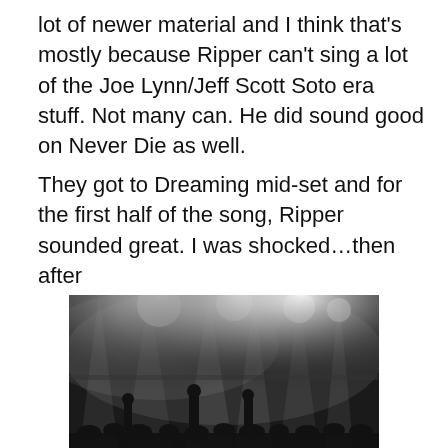lot of newer material and I think that's mostly because Ripper can't sing a lot of the Joe Lynn/Jeff Scott Soto era stuff. Not many can. He did sound good on Never Die as well.
They got to Dreaming mid-set and for the first half of the song, Ripper sounded great. I was shocked…then after
[Figure (photo): Black and white concert photo showing a stage with dramatic lighting beams, fog/smoke, and band members silhouetted against bright stage lights with an audience visible in the foreground.]
Yngwie unleashing the fooking fury!
that, I don't know happened, but for the last part of that song, he sounded like he was singing something different. Sure, the lyrics were right but he had gotten so out of key that it was painful to hear. Not sure if he lost his inner ear